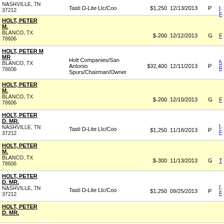| Name/Address | Employer/Occupation | Amount | Date | Type | Recipient |
| --- | --- | --- | --- | --- | --- |
| NASHVILLE, TN 37212 | Tasti D-Lite Llc/Coo | $1,250 | 12/13/2013 | P | INTERNATIONAL FRANCHISE... |
| HOLT, PETER M. / BLANCO, TX 78606 |  | $-200 | 12/12/2013 | G | FRIENDS... |
| HOLT, PETER M MR / BLANCO, TX 78606 | Holt Companies/San Antonio Spurs/Chairman/Owner | $32,400 | 12/11/2013 | P | NATIONAL Republican... |
| HOLT, PETER M. / BLANCO, TX 78606 |  | $-200 | 12/10/2013 | G | FRIENDS... |
| HOLT, PETER D. MR. / NASHVILLE, TN 37212 | Tasti D-Lite Llc/Coo | $1,250 | 11/18/2013 | P | INTERNATIONAL FRANCHISE... |
| HOLT, PETER M. / BLANCO, TX 78606 |  | $-300 | 11/13/2013 | G | TEXANS F... |
| HOLT, PETER D. MR. / NASHVILLE, TN 37212 | Tasti D-Lite Llc/Coo | $1,250 | 09/25/2013 | P | INTERNATIONAL FRANCHISE... |
| HOLT, PETER D. MR. |  |  |  |  |  |